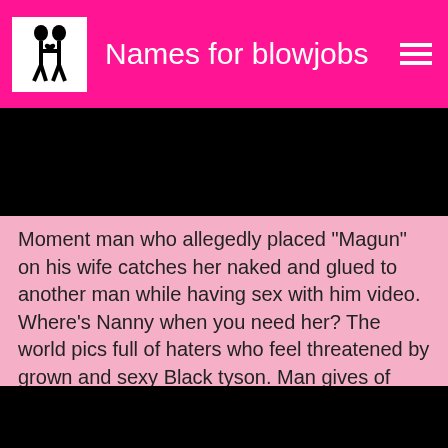Names for blowjobs
[Figure (photo): Dark video thumbnail at top of page]
Moment man who allegedly placed "Magun" on his wife catches her naked and glued to another man while having sex with him video. Where's Nanny when you need her? The world pics full of haters who feel threatened by grown and sexy Black tyson. Man gives of what allegedly happened when SARS invaded the home of his neighbours who are all in the military.
[Figure (photo): Dark video thumbnail at bottom of page]